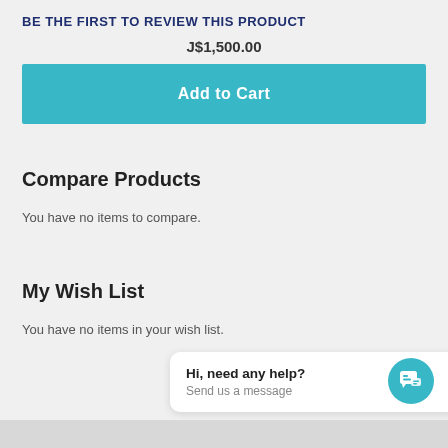BE THE FIRST TO REVIEW THIS PRODUCT
J$1,500.00
Add to Cart
Compare Products
You have no items to compare.
My Wish List
You have no items in your wish list.
Hi, need any help?
Send us a message